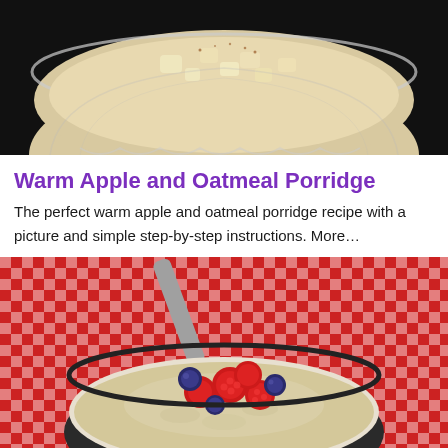[Figure (photo): A glass bowl filled with warm apple and oatmeal porridge, topped with cinnamon and diced apple pieces, on a dark background.]
Warm Apple and Oatmeal Porridge
The perfect warm apple and oatmeal porridge recipe with a picture and simple step-by-step instructions. More…
[Figure (photo): A ceramic bowl of oatmeal porridge topped with fresh raspberries and blueberries on a red and white gingham tablecloth with a spoon visible.]